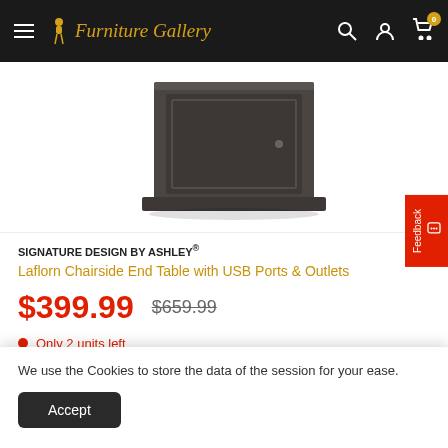Furniture Gallery — navigation bar with hamburger menu, logo, search, account, and cart icons
[Figure (photo): Dark brown/charcoal wooden chairside end table with cabinet door and raised panel detail, photographed on white background]
SIGNATURE DESIGN BY ASHLEY®
Laflorn Chairside End Table with USB Ports & Outlets
$399.99
$659.99
Only 2 units left
We use the Cookies to store the data of the session for your ease.
Accept